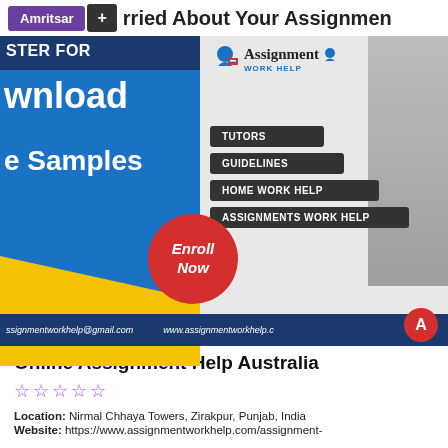[Figure (screenshot): A promotional banner for Assignment Work Help service showing blue/yellow design with text: REGISTER FOR, Download Free Samples, Enroll Now (red circle), Assignment Work Help logo, menu buttons: TUTORS, GUIDELINES, HOME WORK HELP, ASSIGNMENTS WORK HELP, contact info: assignmentworkhelp@gmail.com, www.assignmentworkhelp.com, with Amritsar and + buttons at top and partial heading 'rried About Your Assignment']
Online Assignment Help Australia
☆☆☆☆☆
Location: Nirmal Chhaya Towers, Zirakpur, Punjab, India
Website: https://www.assignmentworkhelp.com/assignment-